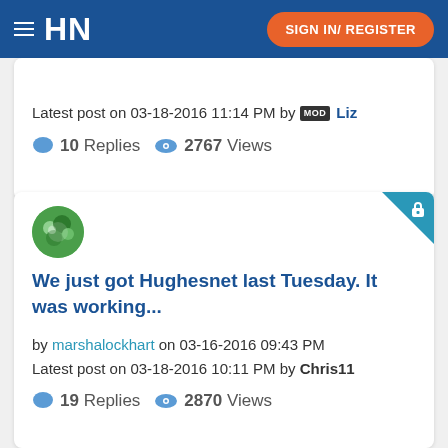HN | SIGN IN/ REGISTER
Latest post on 03-18-2016 11:14 PM by MOD Liz
10 Replies  2767 Views
We just got Hughesnet last Tuesday. It was working...
by marshalockhart on 03-16-2016 09:43 PM
Latest post on 03-18-2016 10:11 PM by Chris11
19 Replies  2870 Views